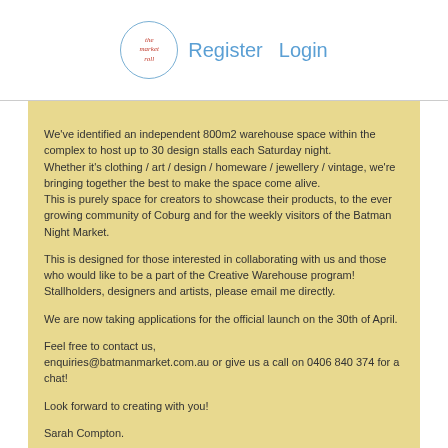Register  Login
We've identified an independent 800m2 warehouse space within the complex to host up to 30 design stalls each Saturday night.
Whether it's clothing / art / design / homeware / jewellery / vintage, we're bringing together the best to make the space come alive.
This is purely space for creators to showcase their products, to the ever growing community of Coburg and for the weekly visitors of the Batman Night Market.

This is designed for those interested in collaborating with us and those who would like to be a part of the Creative Warehouse program!
Stallholders, designers and artists, please email me directly.

We are now taking applications for the official launch on the 30th of April.

Feel free to contact us,
enquiries@batmanmarket.com.au or give us a call on 0406 840 374 for a chat!

Look forward to creating with you!

Sarah Compton.
What is The Market Roll?